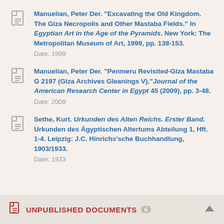Manuelian, Peter Der. "Excavating the Old Kingdom. The Giza Necropolis and Other Mastaba Fields." In Egyptian Art in the Age of the Pyramids. New York: The Metropolitan Museum of Art, 1999, pp. 138-153. Date: 1999
Manuelian, Peter Der. "Penmeru Revisited-Giza Mastaba G 2197 (Giza Archives Gleanings V)." Journal of the American Research Center in Egypt 45 (2009), pp. 3-48. Date: 2009
Sethe, Kurt. Urkunden des Alten Reichs. Erster Band. Urkunden des Ägyptischen Altertums Abteilung 1, Hft. 1-4. Leipzig: J.C. Hinrichs'sche Buchhandlung, 1903/1933. Date: 1933
UNPUBLISHED DOCUMENTS 6